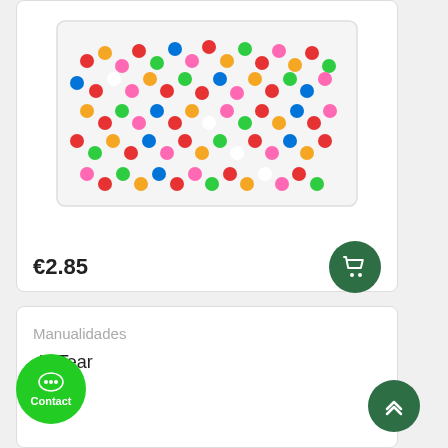[Figure (photo): A clear plastic bag filled with colorful small pompom balls in various colors including red, orange, yellow, green, blue, pink, white, and more.]
€2.85
Manualidades
de Tear
Contact